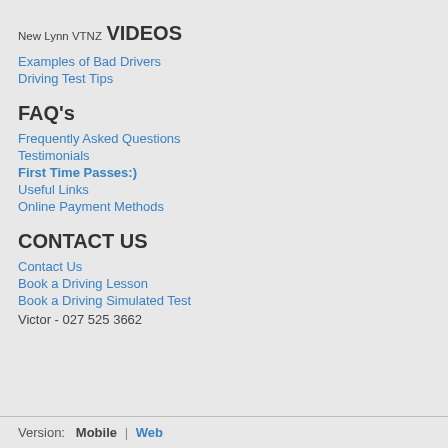New Lynn VTNZ
VIDEOS
Examples of Bad Drivers
Driving Test Tips
FAQ's
Frequently Asked Questions
Testimonials
First Time Passes:)
Useful Links
Online Payment Methods
CONTACT US
Contact Us
Book a Driving Lesson
Book a Driving Simulated Test
Victor - 027 525 3662
Version:  Mobile | Web